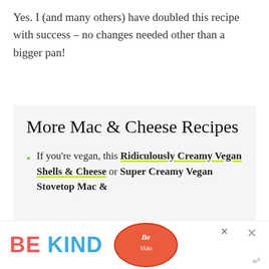Yes. I (and many others) have doubled this recipe with success – no changes needed other than a bigger pan!
More Mac & Cheese Recipes
If you're vegan, this Ridiculously Creamy Vegan Shells & Cheese or Super Creamy Vegan Stovetop Mac &
[Figure (other): Advertisement banner reading BE KIND with colorful graphic and close buttons]